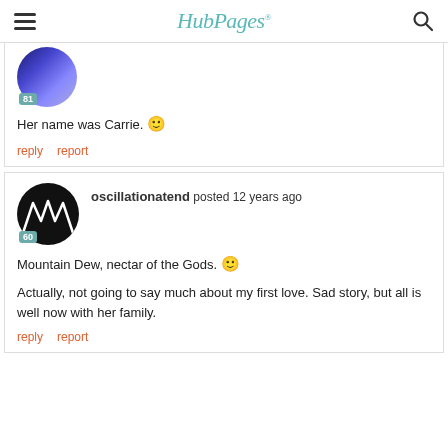HubPages
Her name was Carrie. 🙂
reply   report
oscillationatend posted 12 years ago
Mountain Dew, nectar of the Gods. 🙂
Actually, not going to say much about my first love. Sad story, but all is well now with her family.
reply   report